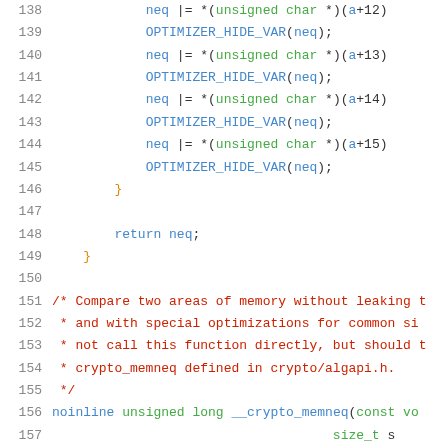[Figure (screenshot): Source code listing lines 138-159 of a C file implementing __crypto_memneq function, showing neq |= operations with OPTIMIZER_HIDE_VAR calls, a return statement, closing brace, a comment block, and the function signature.]